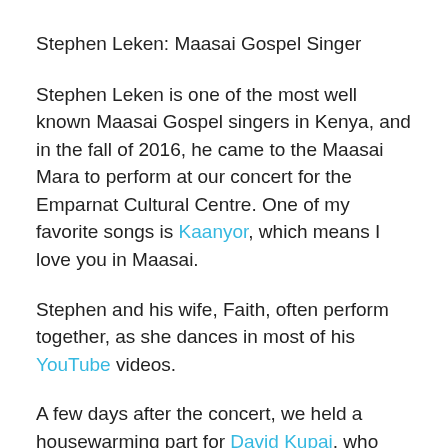Stephen Leken: Maasai Gospel Singer
Stephen Leken is one of the most well known Maasai Gospel singers in Kenya, and in the fall of 2016, he came to the Maasai Mara to perform at our concert for the Emparnat Cultural Centre. One of my favorite songs is Kaanyor, which means I love you in Maasai.
Stephen and his wife, Faith, often perform together, as she dances in most of his YouTube videos.
A few days after the concert, we held a housewarming part for David Kupai, who had built a house in his